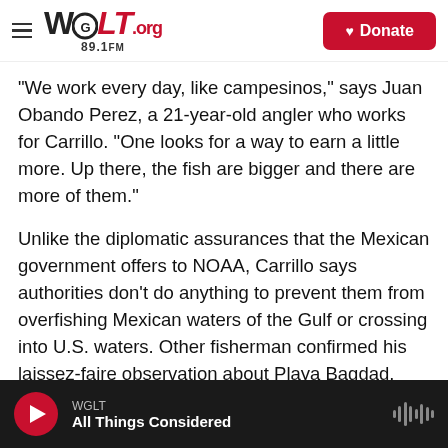WGLT.org 89.1FM — Donate
"We work every day, like campesinos," says Juan Obando Perez, a 21-year-old angler who works for Carrillo. "One looks for a way to earn a little more. Up there, the fish are bigger and there are more of them."
Unlike the diplomatic assurances that the Mexican government offers to NOAA, Carrillo says authorities don't do anything to prevent them from overfishing Mexican waters of the Gulf or crossing into U.S. waters. Other fisherman confirmed his laissez-faire observation about Playa Bagdad.
"Th...
WGLT — All Things Considered